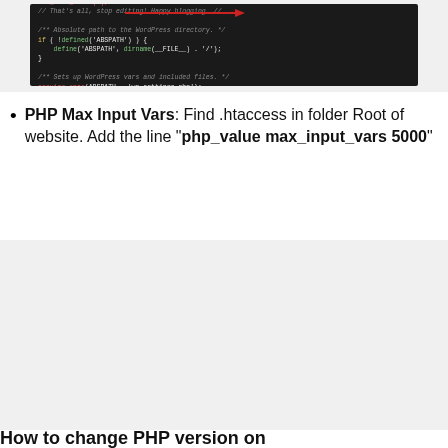[Figure (screenshot): Dark-themed code editor screenshot showing PHP WordPress configuration code with red arrow pointing to set_time_limit line]
PHP Max Input Vars: Find .htaccess in folder Root of website. Add the line "php_value max_input_vars 5000"
[Figure (screenshot): Dark-themed code editor screenshot showing .htaccess file with php_value max_input_vars 5000 at line 1, followed by WordPress BEGIN/END rewrite rules, with red arrow pointing to line 1]
How to change PHP version on